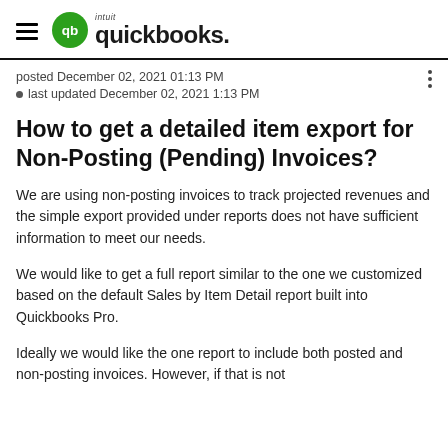QuickBooks (Intuit QuickBooks logo)
posted December 02, 2021 01:13 PM
• last updated December 02, 2021 1:13 PM
How to get a detailed item export for Non-Posting (Pending) Invoices?
We are using non-posting invoices to track projected revenues and the simple export provided under reports does not have sufficient information to meet our needs.
We would like to get a full report similar to the one we customized based on the default Sales by Item Detail report built into Quickbooks Pro.
Ideally we would like the one report to include both posted and non-posting invoices. However, if that is not